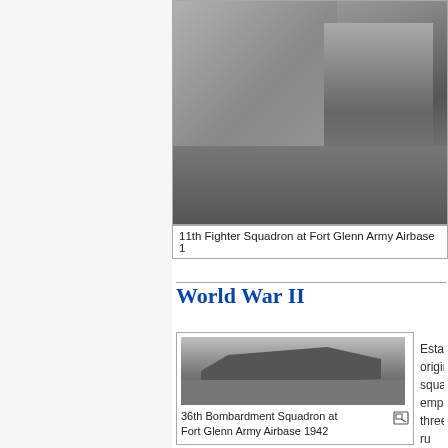[Figure (photo): Black and white historical photo of 11th Fighter Squadron at Fort Glenn Army Airbase 1942, showing soldiers near a tent in a muddy field]
11th Fighter Squadron at Fort Glenn Army Airbase 1
World War II
[Figure (photo): Black and white historical photo of 36th Bombardment Squadron at Fort Glenn Army Airbase 1942, showing a large bomber aircraft on an airfield]
36th Bombardment Squadron at Fort Glenn Army Airbase 1942
Establis originally squadro employ three ru auxiliar steel ru include support